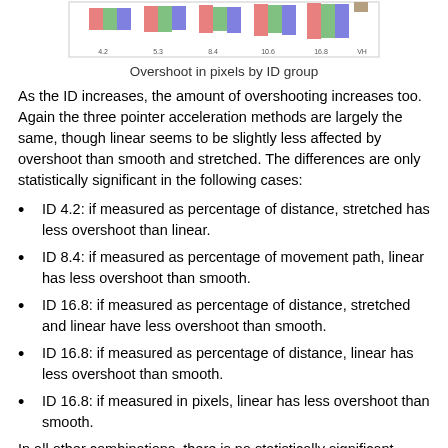[Figure (stacked-bar-chart): Stacked bar chart showing overshoot in pixels grouped by ID group, with colored bars representing different pointer acceleration methods (linear, smooth, stretched).]
Overshoot in pixels by ID group
As the ID increases, the amount of overshooting increases too. Again the three pointer acceleration methods are largely the same, though linear seems to be slightly less affected by overshoot than smooth and stretched. The differences are only statistically significant in the following cases:
ID 4.2: if measured as percentage of distance, stretched has less overshoot than linear.
ID 8.4: if measured as percentage of movement path, linear has less overshoot than smooth.
ID 16.8: if measured as percentage of distance, stretched and linear have less overshoot than smooth.
ID 16.8: if measured as percentage of distance, linear has less overshoot than smooth.
ID 16.8: if measured in pixels, linear has less overshoot than smooth.
In all other combinations, there is no statistically significant